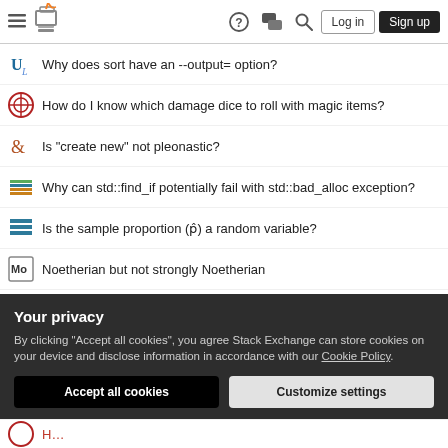Stack Exchange navigation bar with hamburger menu, logo, help, chat, search, Log in, Sign up
Why does sort have an --output= option?
How do I know which damage dice to roll with magic items?
Is "create new" not pleonastic?
Why can std::find_if potentially fail with std::bad_alloc exception?
Is the sample proportion (p̂) a random variable?
Noetherian but not strongly Noetherian
Is it a good idea to open up a database port for everyone?
Is there a position with the stupidest possible move?
Can Monks Use Dex to grapple and shove under the One D&D
Your privacy
By clicking "Accept all cookies", you agree Stack Exchange can store cookies on your device and disclose information in accordance with our Cookie Policy.
[Accept all cookies] [Customize settings]